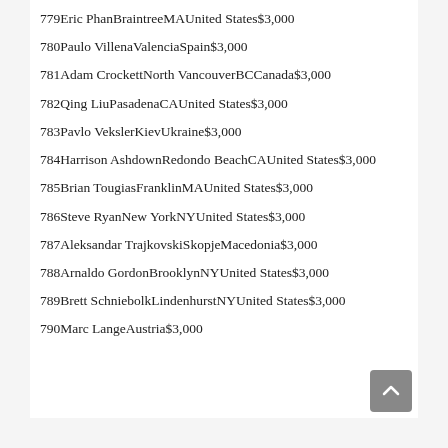779Eric PhanBraintreeMAUnited States$3,000
780Paulo VillenaValenciaSpain$3,000
781Adam CrockettNorth VancouverBCCanada$3,000
782Qing LiuPasadenaCAUnited States$3,000
783Pavlo VekslerKievUkraine$3,000
784Harrison AshdownRedondo BeachCAUnited States$3,000
785Brian TougiasFranklinMAUnited States$3,000
786Steve RyanNew YorkNYUnited States$3,000
787Aleksandar TrajkovskiSkopjeMacedonia$3,000
788Arnaldo GordonBrooklynNYUnited States$3,000
789Brett SchniebolkLindenhurstNYUnited States$3,000
790Marc LangeAustria$3,000